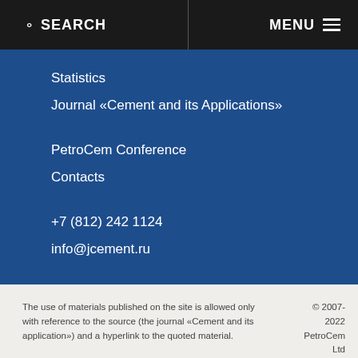SEARCH | MENU
Statistics
Journal «Cement and its Applications»
PetroCem Conference
Contacts
+7 (812) 242 1124
info@jcement.ru
The use of materials published on the site is allowed only with reference to the source (the journal «Cement and its application») and a hyperlink to the quoted material. © 2007-2022 PetroCem Ltd Privacy policy